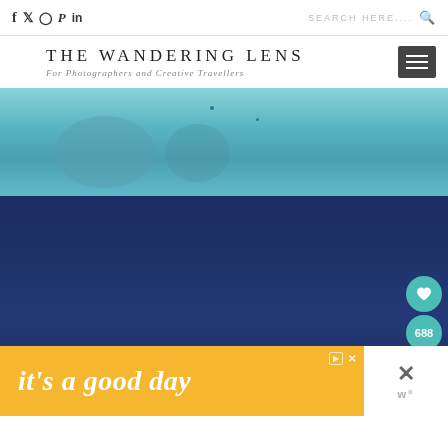Social icons: f, Twitter, Instagram, Pinterest, in | SEARCH HERE....
[Figure (logo): THE WANDERING LENS logo with tagline 'For Photographers and Creative Travellers' and hamburger menu icon]
[Figure (photo): Teal/blue underwater or sky photo, partially cropped]
[Figure (photo): Dark navy blue sky or ocean photo with social share widget showing heart icon, count 688, and share icon on the right side. Yellow advertisement banner at the bottom reading 'it's a good day']